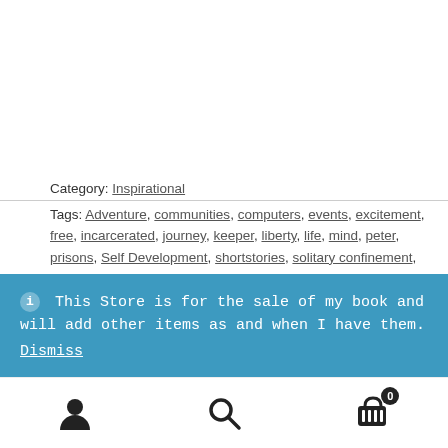Category: Inspirational
Tags: Adventure, communities, computers, events, excitement, free, incarcerated, journey, keeper, liberty, life, mind, peter, prisons, Self Development, shortstories, solitary confinement, state, travel, value, Wisdom, Words of Wisdom
This Store is for the sale of my book and will add other items as and when I have them.
Dismiss